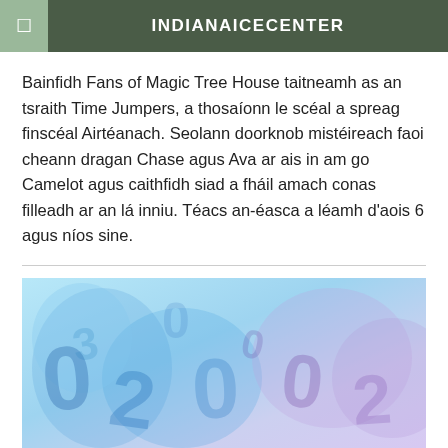INDIANAICECENTER
Bainfidh Fans of Magic Tree House taitneamh as an tsraith Time Jumpers, a thosaíonn le scéal a spreag finscéal Airtéanach. Seolann doorknob mistéireach faoi cheann dragan Chase agus Ava ar ais in am go Camelot agus caithfidh siad a fháil amach conas filleadh ar an lá inniu. Téacs an-éasca a léamh d'aois 6 agus níos sine.
[Figure (illustration): Colorful abstract illustration with blue and purple watercolor-style numbers and shapes overlapping on a light background.]